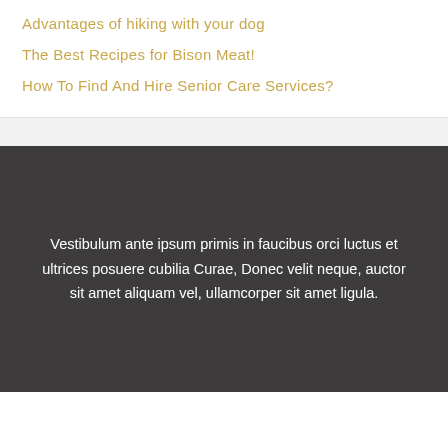Advantages of hiking with your dog
The Best Recipes for Bison Meat!
How To Find And Hire Senior Care Services?
Vestibulum ante ipsum primis in faucibus orci luctus et ultrices posuere cubilia Curae, Donec velit neque, auctor sit amet aliquam vel, ullamcorper sit amet ligula.